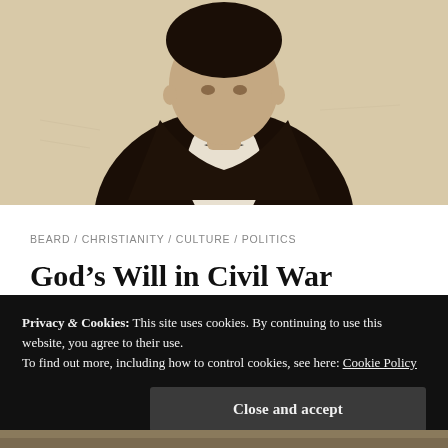[Figure (photo): Black and white historical portrait photograph of a man in a dark suit and bow tie, cropped to show torso and partial face]
BEARD / CHRISTIANITY / CULTURE / POLITICS
God’s Will in Civil War
Christianity
Culture
Discernment
God’s Will
Privacy & Cookies: This site uses cookies. By continuing to use this website, you agree to their use.
To find out more, including how to control cookies, see here: Cookie Policy
[Figure (photo): Partial historical photograph visible at the bottom of the page beneath the cookie banner]